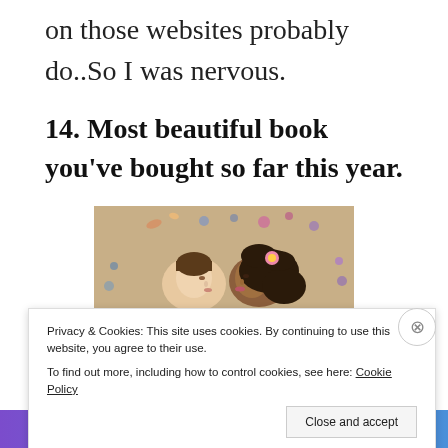on those websites probably do..So I was nervous.
14. Most beautiful book you’ve bought so far this year.
[Figure (photo): Two people lying on sand with decorative items around them, faces close together, one with curly hair and one with short hair.]
Privacy & Cookies: This site uses cookies. By continuing to use this website, you agree to their use.
To find out more, including how to control cookies, see here: Cookie Policy
Close and accept